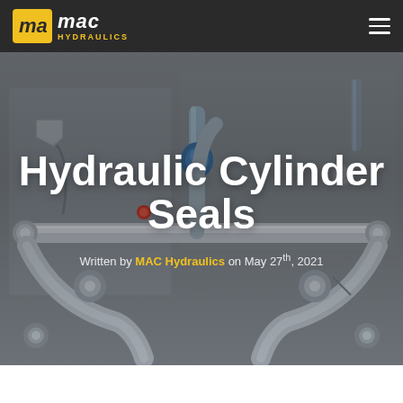mac HYDRAULICS
[Figure (photo): Close-up photograph of hydraulic cylinders, linkages, and mechanical components in a machinery assembly, showing silver metal actuators, hydraulic fittings, a blue valve, and various cables and brackets against a grey industrial background.]
Hydraulic Cylinder Seals
Written by MAC Hydraulics on May 27th, 2021